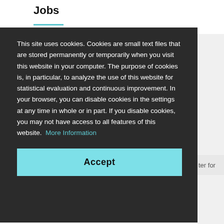Jobs
This site uses cookies. Cookies are small text files that are stored permanently or temporarily when you visit this website in your computer. The purpose of cookies is, in particular, to analyze the use of this website for statistical evaluation and continuous improvement. In your browser, you can disable cookies in the settings at any time in whole or in part. If you disable cookies, you may not have access to all features of this website.  More Information
Accept